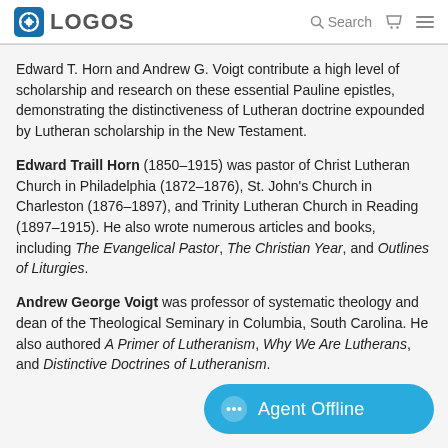LOGOS | Search
Edward T. Horn and Andrew G. Voigt contribute a high level of scholarship and research on these essential Pauline epistles, demonstrating the distinctiveness of Lutheran doctrine expounded by Lutheran scholarship in the New Testament.
Edward Traill Horn (1850–1915) was pastor of Christ Lutheran Church in Philadelphia (1872–1876), St. John's Church in Charleston (1876–1897), and Trinity Lutheran Church in Reading (1897–1915). He also wrote numerous articles and books, including The Evangelical Pastor, The Christian Year, and Outlines of Liturgies.
Andrew George Voigt was professor of systematic theology and dean of the Theological Seminary in Columbia, South Carolina. He also authored A Primer of Lutheranism, Why We Are Lutherans, and Distinctive Doctrines of Lutheranism.